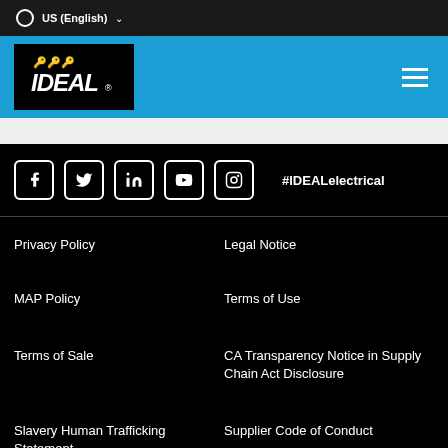US (English)
[Figure (logo): IDEAL electrical brand logo — white text on black background with key icons]
[Figure (infographic): Social media icons: Facebook, Twitter, LinkedIn, YouTube, Instagram followed by #IDEALelectrical hashtag]
Privacy Policy
Legal Notice
MAP Policy
Terms of Use
Terms of Sale
CA Transparency Notice in Supply Chain Act Disclosure
Slavery Human Trafficking Statement
Supplier Code of Conduct
Apparel and Merchandise
Product Registration